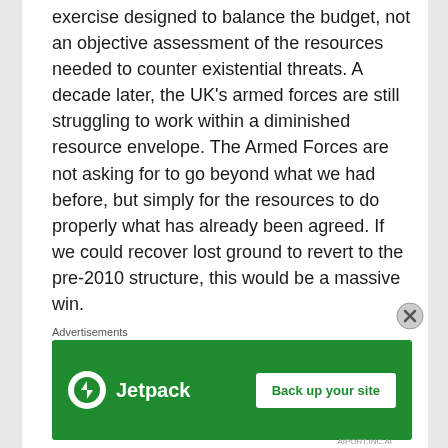exercise designed to balance the budget, not an objective assessment of the resources needed to counter existential threats. A decade later, the UK's armed forces are still struggling to work within a diminished resource envelope. The Armed Forces are not asking for to go beyond what we had before, but simply for the resources to do properly what has already been agreed. If we could recover lost ground to revert to the pre-2010 structure, this would be a massive win.

The prospect of turning back the clock to pre-2010 is extremely unlikely. The Government's pre-
Advertisements
[Figure (other): Jetpack advertisement banner with green background, Jetpack logo and 'Back up your site' button]